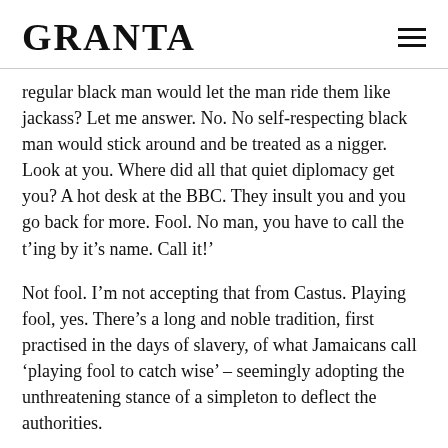GRANTA
regular black man would let the man ride them like jackass? Let me answer. No. No self-respecting black man would stick around and be treated as a nigger. Look at you. Where did all that quiet diplomacy get you? A hot desk at the BBC. They insult you and you go back for more. Fool. No man, you have to call the t’ing by it’s name. Call it!’
Not fool. I’m not accepting that from Castus. Playing fool, yes. There’s a long and noble tradition, first practised in the days of slavery, of what Jamaicans call ‘playing fool to catch wise’ – seemingly adopting the unthreatening stance of a simpleton to deflect the authorities.
‘Have you never stopped to think I may be sticking and staying to make it easier for the next black man to swing